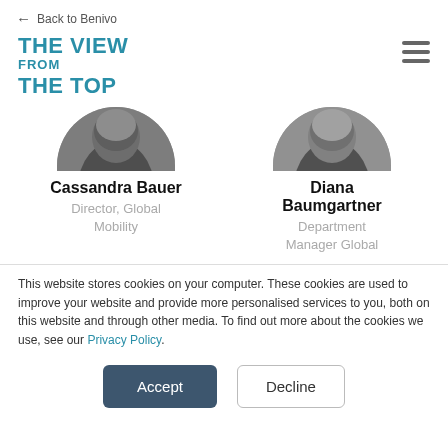← Back to Benivo
THE VIEW FROM THE TOP
[Figure (photo): Circular cropped black and white headshot photo of Cassandra Bauer, showing only the top half of the face]
Cassandra Bauer
Director, Global Mobility
[Figure (photo): Circular cropped black and white headshot photo of Diana Baumgartner, showing only the top half of the face]
Diana Baumgartner
Department Manager Global
This website stores cookies on your computer. These cookies are used to improve your website and provide more personalised services to you, both on this website and through other media. To find out more about the cookies we use, see our Privacy Policy.
Accept
Decline